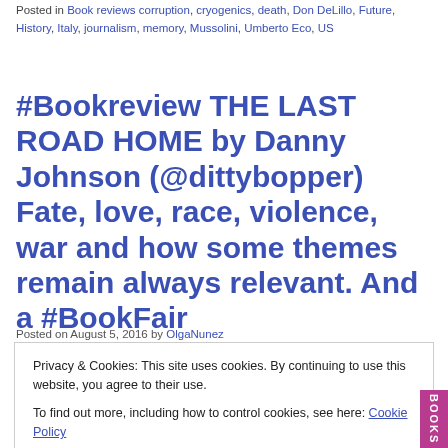Posted in Book reviews corruption, cryogenics, death, Don DeLillo, Future, History, Italy, journalism, memory, Mussolini, Umberto Eco, US
#Bookreview THE LAST ROAD HOME by Danny Johnson (@dittybopper) Fate, love, race, violence, war and how some themes remain always relevant. And a #BookFair
Posted on August 5, 2016 by OlgaNunez
Privacy & Cookies: This site uses cookies. By continuing to use this website, you agree to their use.
To find out more, including how to control cookies, see here: Cookie Policy
Close and accept
Posted in Book reviews 13th August, book fair, Christoph Fischer, fate,